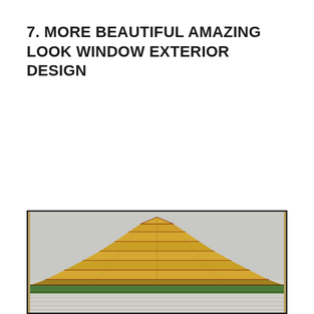7. MORE BEAUTIFUL AMAZING LOOK WINDOW EXTERIOR DESIGN
[Figure (photo): Photo of a window exterior design featuring a pyramid-shaped roofline with horizontal yellow and brown/red striped wooden shingles or slats, partially cropped at the bottom of the page.]